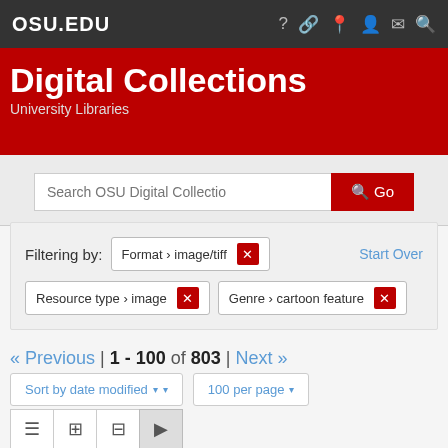OSU.EDU
Digital Collections
University Libraries
Search OSU Digital Collections Go
Filtering by: Format › image/tiff [x] Start Over Resource type › image [x] Genre › cartoon feature [x]
« Previous | 1 - 100 of 803 | Next »
Sort by date modified ▾ ▾  100 per page ▾